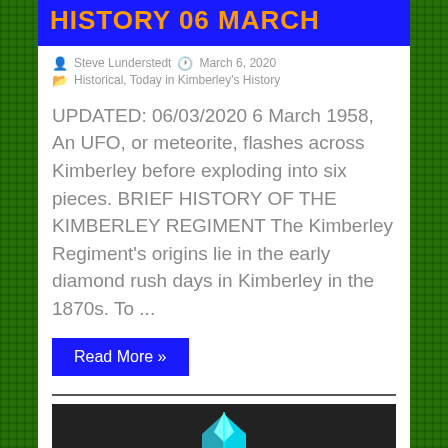HISTORY 06 MARCH
Steve Lunderstedt  March 6, 2020  Historical, Today in Kimberley's History
UPDATED: 06/03/2020 6 March 1958, An UFO, or meteorite, flashes across Kimberley before exploding into six pieces. BRIEF HISTORY OF THE KIMBERLEY REGIMENT The Kimberley Regiment's origins lie in the early diamond rush days in Kimberley in the 1870s. To ...
Read More »
[Figure (other): Dark background image with a cyan/blue diamond hexagon logo icon partially visible at the bottom of the page]